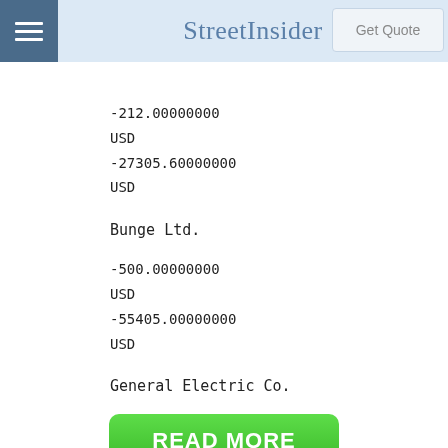StreetInsider
-212.00000000
USD
-27305.60000000
USD
Bunge Ltd.
-500.00000000
USD
-55405.00000000
USD
General Electric Co.
READ MORE
on Newz Online